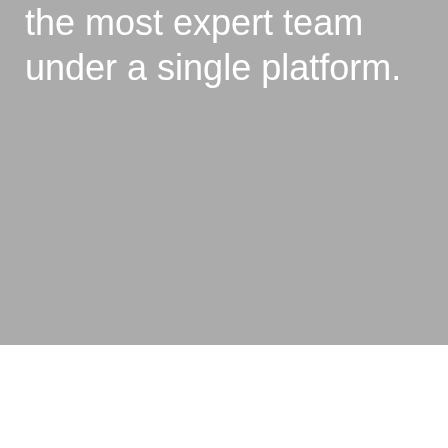the most expert team under a single platform.